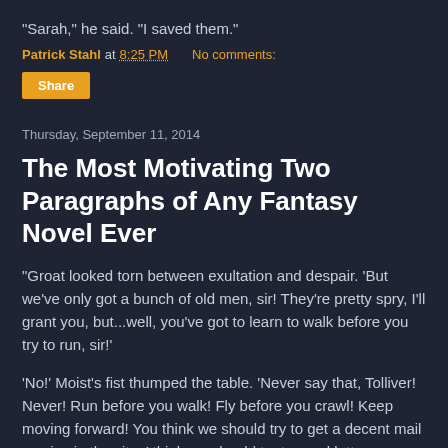“Sarah,” he said.  “I saved them.”
Patrick Stahl at 8:25 PM    No comments:
Share
Thursday, September 11, 2014
The Most Motivating Two Paragraphs of Any Fantasy Novel Ever
"Groat looked torn between exultation and despair.  ‘But we’ve only got a bunch of old men, sir!  They’re pretty spry, I’ll grant you, but...well, you’ve got to learn to walk before you try to run, sir!’
‘No!’  Moist’s fist thumped the table.  ‘Never say that, Tolliver!  Never!  Run before you walk!  Fly before you crawl!  Keep moving forward!  You think we should try to get a decent mail service in the city.  I think we should try to send letters